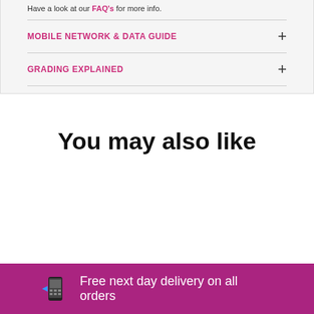Have a look at our FAQ's for more info.
MOBILE NETWORK & DATA GUIDE
GRADING EXPLAINED
You may also like
Free next day delivery on all orders